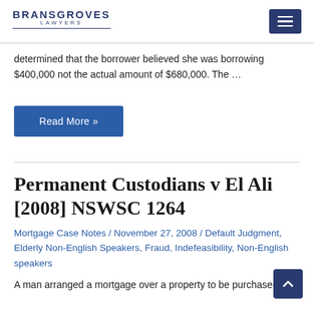BRANSGROVES LAWYERS
determined that the borrower believed she was borrowing $400,000 not the actual amount of $680,000. The …
Read More »
Permanent Custodians v El Ali [2008] NSWSC 1264
Mortgage Case Notes / November 27, 2008 / Default Judgment, Elderly Non-English Speakers, Fraud, Indefeasibility, Non-English speakers
A man arranged a mortgage over a property to be purchased